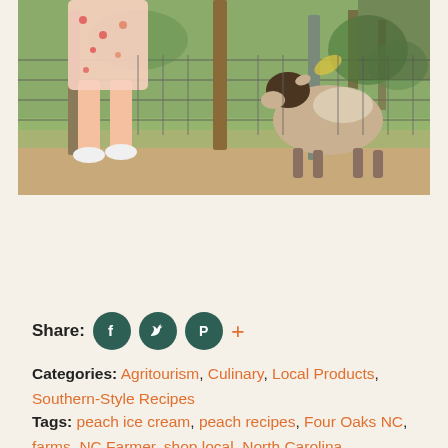[Figure (photo): Photo of a child in a floral outfit standing near a wire fence with a goat on a farm. The child is partially visible from waist down wearing white sneakers. The goat is brown and cream colored standing inside the fence.]
Share: [Facebook] [Twitter] [Pinterest] [+]
Categories: Agritourism, Culinary, Local Products, Southern-Style Recipes
Tags: peach ice cream, peach recipes, Four Oaks NC, farms, NC Farmer, shop local, North Carolina